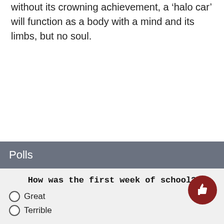without its crowning achievement, a ‘halo car’ will function as a body with a mind and its limbs, but no soul.
#halocar
Polls
How was the first week of school?
Great
Terrible